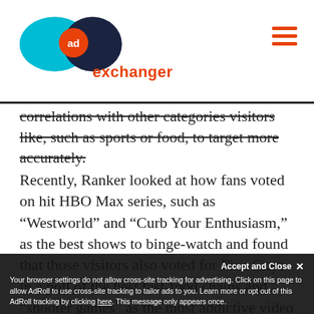AdExchanger logo and navigation
correlations with other categories visitors like, such as sports or food, to target more accurately.
Recently, Ranker looked at how fans voted on hit HBO Max series, such as “Westworld” and “Curb Your Enthusiasm,” as the best shows to binge-watch and found that those visitors also voted for Five Guys in a poll of the best fast-food chains and “shooter games” as the most addictive video games.
And by identifying other shows HBO Max viewers watch, Ranker helped HBO target a larger group, including the streaming
Your browser settings do not allow cross-site tracking for advertising. Click on this page to allow AdRoll to use cross-site tracking to tailor ads to you. Learn more or opt out of this AdRoll tracking by clicking here. This message only appears once.